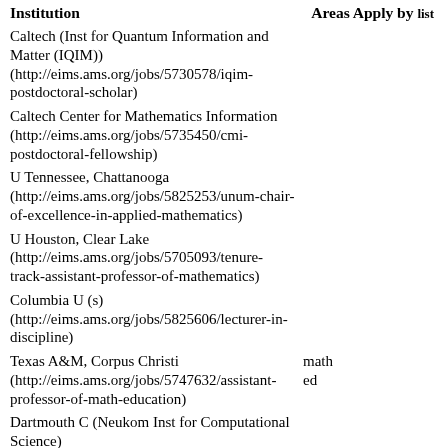Institution | Areas Apply by list
Caltech (Inst for Quantum Information and Matter (IQIM)) (http://eims.ams.org/jobs/5730578/iqim-postdoctoral-scholar)
Caltech Center for Mathematics Information (http://eims.ams.org/jobs/5735450/cmi-postdoctoral-fellowship)
U Tennessee, Chattanooga (http://eims.ams.org/jobs/5825253/unum-chair-of-excellence-in-applied-mathematics)
U Houston, Clear Lake (http://eims.ams.org/jobs/5705093/tenure-track-assistant-professor-of-mathematics)
Columbia U (s) (http://eims.ams.org/jobs/5825606/lecturer-in-discipline)
Texas A&M, Corpus Christi (http://eims.ams.org/jobs/5747632/assistant-professor-of-math-education) | math ed
Dartmouth C (Neukom Inst for Computational Science) (http://eims.ams.org/jobs/5761731/neukom-